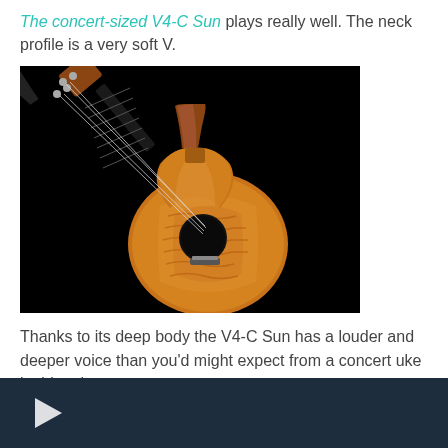The concert-sized V4-C Sun plays really well. The neck profile is a very soft V.
[Figure (photo): Photo of a concert ukulele (V4-C Sun) with a flame koa body and black headstock against a black background.]
Thanks to its deep body the V4-C Sun has a louder and deeper voice than you'd might expect from a concert uke in this price range.
[Figure (screenshot): Dark navy/teal video thumbnail with a white play arrow, partially visible at the bottom of the page.]